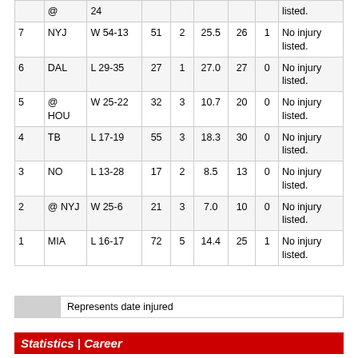|  | Opp | Result |  |  |  |  |  | Injury |
| --- | --- | --- | --- | --- | --- | --- | --- | --- |
|  | @ | 24 |  |  |  |  |  | listed. |
| 7 | NYJ | W 54-13 | 51 | 2 | 25.5 | 26 | 1 | No injury listed. |
| 6 | DAL | L 29-35 | 27 | 1 | 27.0 | 27 | 0 | No injury listed. |
| 5 | @ HOU | W 25-22 | 32 | 3 | 10.7 | 20 | 0 | No injury listed. |
| 4 | TB | L 17-19 | 55 | 3 | 18.3 | 30 | 0 | No injury listed. |
| 3 | NO | L 13-28 | 17 | 2 | 8.5 | 13 | 0 | No injury listed. |
| 2 | @ NYJ | W 25-6 | 21 | 3 | 7.0 | 10 | 0 | No injury listed. |
| 1 | MIA | L 16-17 | 72 | 5 | 14.4 | 25 | 1 | No injury listed. |
Represents date injured
Statistics | Career